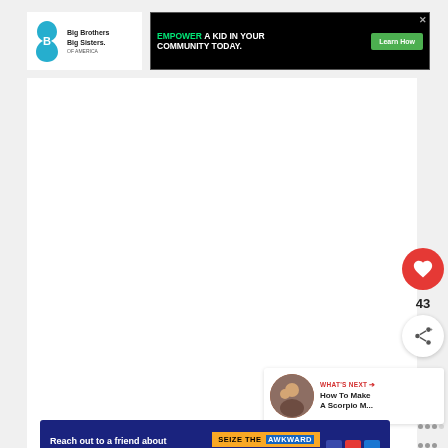[Figure (logo): Big Brothers Big Sisters logo with text]
[Figure (infographic): Black advertisement banner: EMPOWER A KID IN YOUR COMMUNITY TODAY. with Learn How button]
[Figure (infographic): Heart/like button (red circle) with 43 likes count and share button below]
43
[Figure (infographic): What's Next card showing: How To Make A Scorpio M... with thumbnail photo]
[Figure (infographic): Bottom advertisement: Reach out to a friend about their mental health. SEIZE THE AWKWARD. Learn more.]